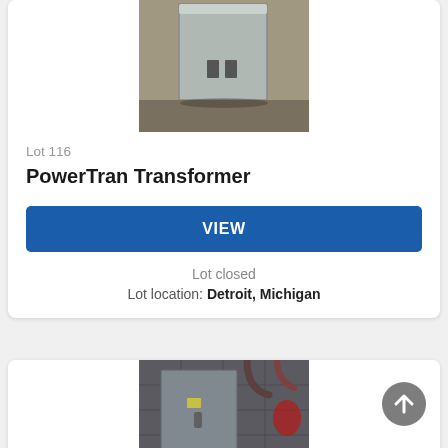[Figure (photo): Photo of a PowerTran transformer, gray metal box, partially cropped at top of card]
Lot 116
PowerTran Transformer
VIEW
Lot closed
Lot location: Detroit, Michigan
[Figure (photo): Photo of a gray metal electrical cabinet/transformer with pipes, partially visible at bottom of page]